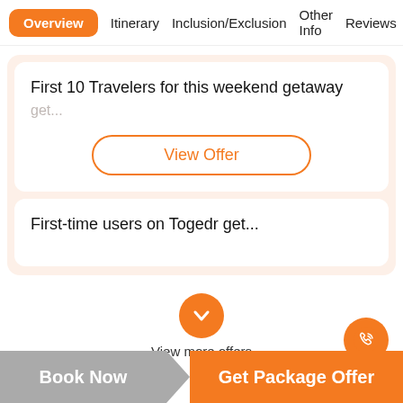Overview  Itinerary  Inclusion/Exclusion  Other Info  Reviews
First 10 Travelers for this weekend getaway
get...
View Offer
First-time users on Toadr get...
View more offers
Book Now
Get Package Offer